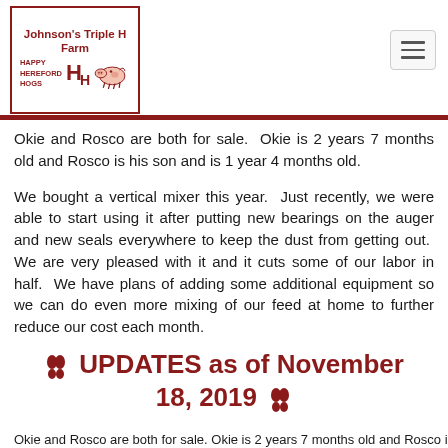[Figure (logo): Johnson's Triple H Farm logo with pig graphic and text 'Happy Hereford Hogs']
Okie and Rosco are both for sale.  Okie is 2 years 7 months old and Rosco is his son and is 1 year 4 months old.
We bought a vertical mixer this year.  Just recently, we were able to start using it after putting new bearings on the auger and new seals everywhere to keep the dust from getting out.  We are very pleased with it and it cuts some of our labor in half.  We have plans of adding some additional equipment so we can do even more mixing of our feed at home to further reduce our cost each month.
🐾 UPDATES as of November 18, 2019 🐾